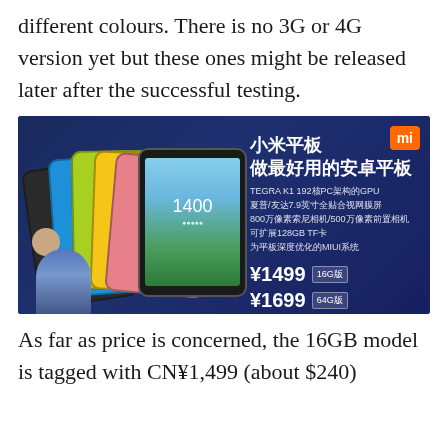different colours. There is no 3G or 4G version yet but these ones might be released later after the successful testing.
[Figure (photo): Xiaomi Mi Pad tablet announcement slide showing multiple coloured tablets (black, blue, green, yellow, pink) fanned out, with Chinese text '小米平板 做最好用的安卓平板', specs including TEGRA K1, 7.9 inch screen, 800MP camera, 128GB TF card, MIUI system, and prices ¥1499 (16G版) and ¥1699 (64G版), with a presenter standing in front, on a dark blue background with Mi logo.]
As far as price is concerned, the 16GB model is tagged with CN¥1,499 (about $240)